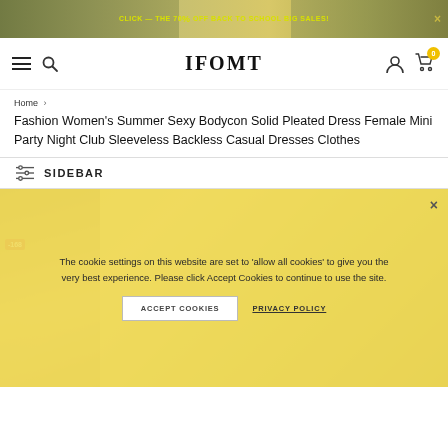[Figure (screenshot): E-commerce website banner with yellow text 'CLICK — THE 70% OFF BACK TO SCHOOL BIG SALES!' with photos]
IFOMT navigation bar with hamburger menu, search icon, logo, user icon, cart (0)
Home > Fashion Women's Summer Sexy Bodycon Solid Pleated Dress Female Mini Party Night Club Sleeveless Backless Casual Dresses Clothes
Fashion Women's Summer Sexy Bodycon Solid Pleated Dress Female Mini Party Night Club Sleeveless Backless Casual Dresses Clothes
SIDEBAR
[Figure (photo): Product thumbnail image of a woman in a yellow bodycon dress, partially obscured by cookie consent overlay. Discount badge showing -168]
The cookie settings on this website are set to 'allow all cookies' to give you the very best experience. Please click Accept Cookies to continue to use the site.
ACCEPT COOKIES   PRIVACY POLICY